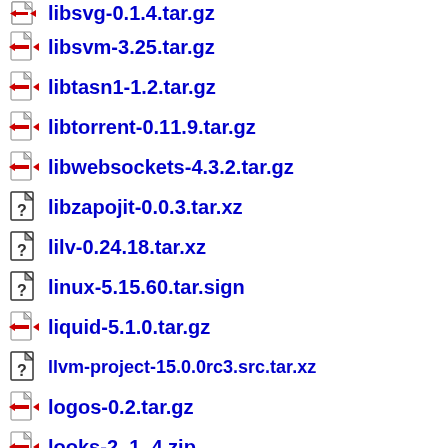libsvg-0.1.4.tar.gz
libsvm-3.25.tar.gz
libtasn1-1.2.tar.gz
libtorrent-0.11.9.tar.gz
libwebsockets-4.3.2.tar.gz
libzapojit-0.0.3.tar.xz
lilv-0.24.18.tar.xz
linux-5.15.60.tar.sign
liquid-5.1.0.tar.gz
llvm-project-15.0.0rc3.src.tar.xz
logos-0.2.tar.gz
looks-2_1_4.zip